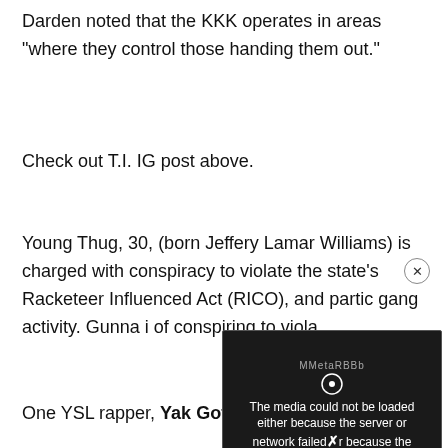Darden noted that the KKK operates in areas “where they control those handing them out.”
Check out T.I. IG post above.
Young Thug, 30, (born Jeffery Lamar Williams) is charged with conspiracy to violate the state’s Racketeer Influenced… Act (RICO), and partic… gang activity. Gunna i… of conspiring to viola…
[Figure (other): Video player error overlay with message: 'The media could not be loaded either because the server or network failed or because the format is not supported.' shown over a dark background with an X close button.]
One YSL rapper, Yak Gotti, is accused with four